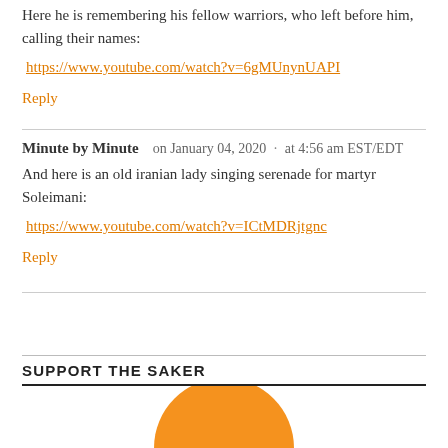Here he is remembering his fellow warriors, who left before him, calling their names:
https://www.youtube.com/watch?v=6gMUnynUAPI
Reply
Minute by Minute   on January 04, 2020  ·  at 4:56 am EST/EDT
And here is an old iranian lady singing serenade for martyr Soleimani:
https://www.youtube.com/watch?v=ICtMDRjtgnc
Reply
SUPPORT THE SAKER
[Figure (illustration): Partial orange circle/logo visible at bottom of page]